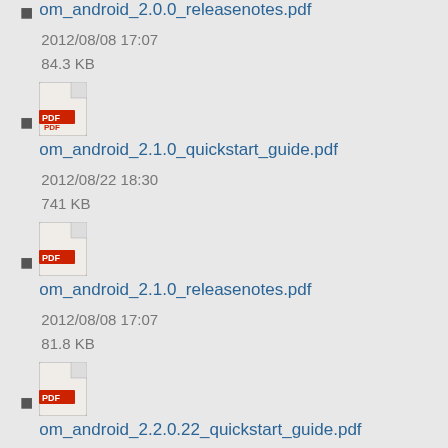om_android_2.0.0_releasenotes.pdf
2012/08/08 17:07
84.3 KB
om_android_2.1.0_quickstart_guide.pdf
2012/08/22 18:30
741 KB
om_android_2.1.0_releasenotes.pdf
2012/08/08 17:07
81.8 KB
om_android_2.2.0.22_quickstart_guide.pdf
2012/08/22 18:29